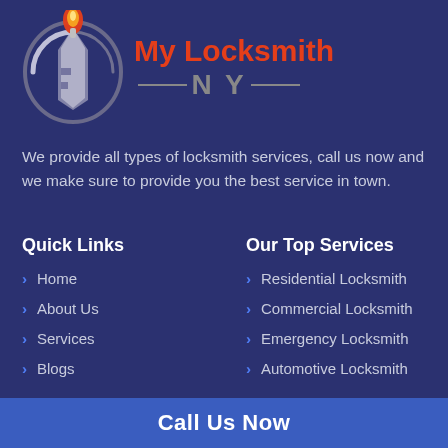[Figure (logo): My Locksmith NY logo with a flame-torch on top of a key/shield emblem in silver and grey, with orange-red 'My Locksmith' text and grey 'NY' text]
We provide all types of locksmith services, call us now and we make sure to provide you the best service in town.
Quick Links
Our Top Services
Home
Residential Locksmith
About Us
Commercial Locksmith
Services
Emergency Locksmith
Blogs
Automotive Locksmith
Call Us Now